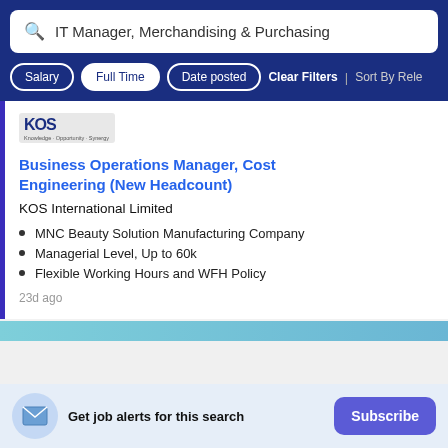IT Manager, Merchandising & Purchasing
Salary | Full Time | Date posted | Clear Filters | Sort By Rele
[Figure (logo): KOS company logo with tagline Knowledge, Opportunity, Synergy]
Business Operations Manager, Cost Engineering (New Headcount)
KOS International Limited
MNC Beauty Solution Manufacturing Company
Managerial Level, Up to 60k
Flexible Working Hours and WFH Policy
23d ago
Get job alerts for this search
Subscribe